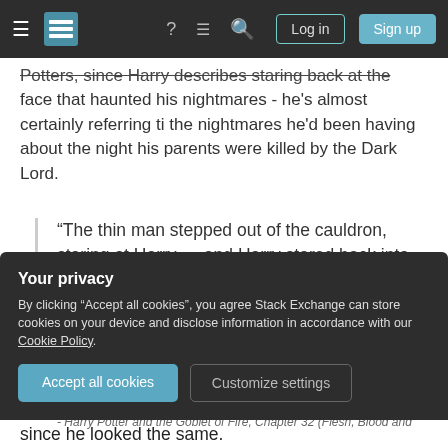[Figure (screenshot): Stack Exchange website navigation bar with hamburger menu, logo, help icon, chat icon, search icon, Log in and Sign up buttons on dark background]
Potters, since Harry describes staring back at the face that haunted his nightmares - he's almost certainly referring ti the nightmares he'd been having about the night his parents were killed by the Dark Lord.
“The thin man stepped out of the cauldron, staring at Harry … and Harry stared back into the face that had haunted his nightmares for three years.”
- Harry Potter and the Goblet of Fire, Chapter 32 (Flesh, Blood and
Your privacy
By clicking “Accept all cookies”, you agree Stack Exchange can store cookies on your device and disclose information in accordance with our Cookie Policy.
Accept all cookies
Customize settings
since he looked the same.